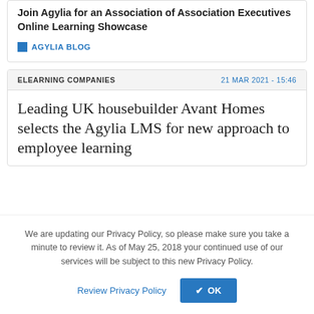Join Agylia for an Association of Association Executives Online Learning Showcase
AGYLIA BLOG
ELEARNING COMPANIES
21 MAR 2021 - 15:46
Leading UK housebuilder Avant Homes selects the Agylia LMS for new approach to employee learning
We are updating our Privacy Policy, so please make sure you take a minute to review it. As of May 25, 2018 your continued use of our services will be subject to this new Privacy Policy.
Review Privacy Policy
OK